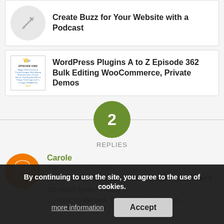[Figure (illustration): Card with pencil icon and partial title 'Create Buzz for Your Website with a Podcast']
[Figure (illustration): Card with WordPress Plugins A to Z Episode 362 thumbnail image]
WordPress Plugins A to Z Episode 362 Bulk Editing WooCommerce, Private Demos
2
REPLIES
Carole
May 4, 2012 at 7:41 pm
I LOVE the show and all of the changes have made it SO much better! I really ... music to the end. That is not why I listen.
By continuing to use the site, you agree to the use of cookies.
more information
Accept